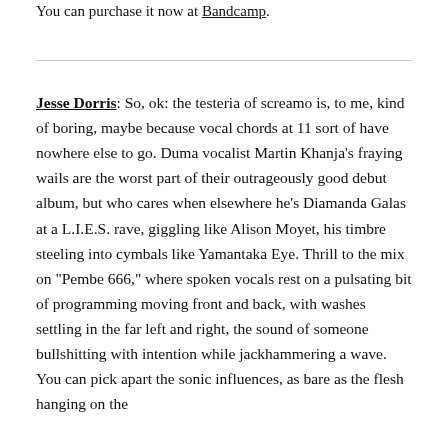You can purchase it now at Bandcamp.
Jesse Dorris: So, ok: the testeria of screamo is, to me, kind of boring, maybe because vocal chords at 11 sort of have nowhere else to go. Duma vocalist Martin Khanja’s fraying wails are the worst part of their outrageously good debut album, but who cares when elsewhere he’s Diamanda Galas at a L.I.E.S. rave, giggling like Alison Moyet, his timbre steeling into cymbals like Yamantaka Eye. Thrill to the mix on “Pembe 666,” where spoken vocals rest on a pulsating bit of programming moving front and back, with washes settling in the far left and right, the sound of someone bullshitting with intention while jackhammering a wave. You can pick apart the sonic influences, as bare as the flesh hanging on the